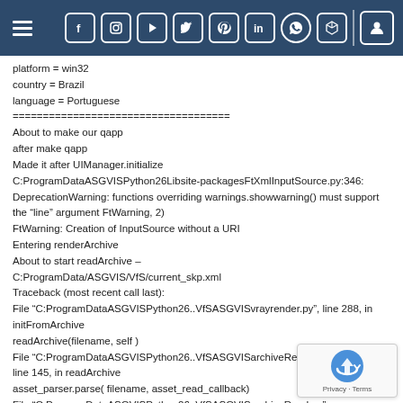Navigation bar with hamburger menu, social media icons (Facebook, Instagram, YouTube, Twitter, Pinterest, LinkedIn, WhatsApp, 3D box), divider, and user icon
platform = win32
country = Brazil
language = Portuguese
====================================
About to make our qapp
after make qapp
Made it after UIManager.initialize
C:ProgramDataASGVISPython26Libsite-packagesFtXmlInputSource.py:346: DeprecationWarning: functions overriding warnings.showwarning() must support the “line” argument FtWarning, 2)
FtWarning: Creation of InputSource without a URI
Entering renderArchive
About to start readArchive –
C:ProgramData/ASGVIS/VfS/current_skp.xml
Traceback (most recent call last):
File “C:ProgramDataASGVISPython26..VfSASGVISvrayrender.py”, line 288, in initFromArchive
readArchive(filename, self )
File “C:ProgramDataASGVISPython26..VfSASGVISarchiveRead… line 145, in readArchive
asset_parser.parse( filename, asset_read_callback)
File “C:ProgramDataASGVISPython26..VfSASGVISarchiveRead.py”,